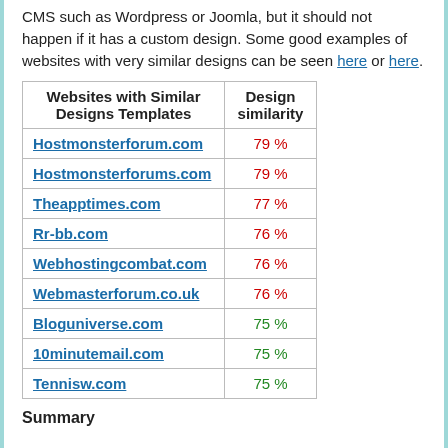CMS such as Wordpress or Joomla, but it should not happen if it has a custom design. Some good examples of websites with very similar designs can be seen here or here.
| Websites with Similar Designs Templates | Design similarity |
| --- | --- |
| Hostmonsterforum.com | 79 % |
| Hostmonsterforums.com | 79 % |
| Theapptimes.com | 77 % |
| Rr-bb.com | 76 % |
| Webhostingcombat.com | 76 % |
| Webmasterforum.co.uk | 76 % |
| Bloguniverse.com | 75 % |
| 10minutemail.com | 75 % |
| Tennisw.com | 75 % |
Summary